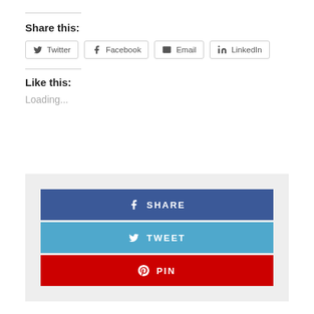Share this:
Twitter  Facebook  Email  LinkedIn
Like this:
Loading...
[Figure (infographic): Social share widget with three buttons: SHARE (blue/Facebook), TWEET (light blue/Twitter), PIN (red/Pinterest)]